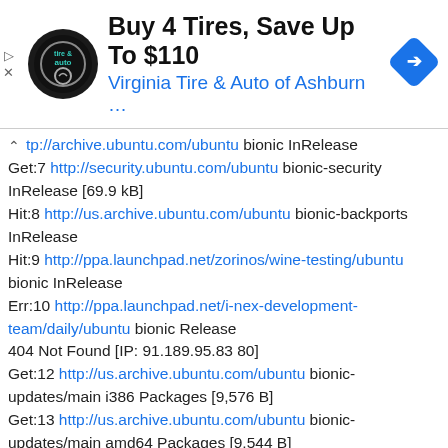[Figure (screenshot): Advertisement banner for Virginia Tire & Auto of Ashburn with logo, headline 'Buy 4 Tires, Save Up To $110', and a blue navigation icon]
tp://archive.ubuntu.com/ubuntu bionic InRelease
Get:7 http://security.ubuntu.com/ubuntu bionic-security InRelease [69.9 kB]
Hit:8 http://us.archive.ubuntu.com/ubuntu bionic-backports InRelease
Hit:9 http://ppa.launchpad.net/zorinos/wine-testing/ubuntu bionic InRelease
Err:10 http://ppa.launchpad.net/i-nex-development-team/daily/ubuntu bionic Release
404 Not Found [IP: 91.189.95.83 80]
Get:12 http://us.archive.ubuntu.com/ubuntu bionic-updates/main i386 Packages [9,576 B]
Get:13 http://us.archive.ubuntu.com/ubuntu bionic-updates/main amd64 Packages [9,544 B]
Get:14 http://security.ubuntu.com/ubuntu bionic-security/main Sources [4,900 B]
Get:15 http://security.ubuntu.com/ubuntu bionic-security/main